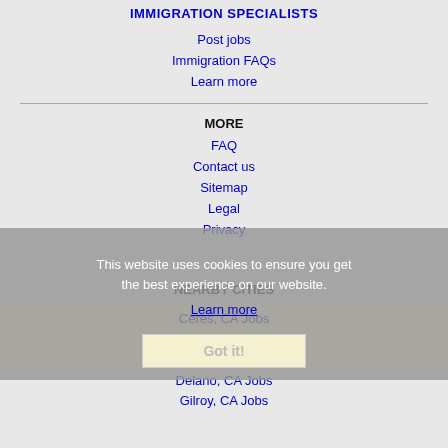IMMIGRATION SPECIALISTS
Post jobs
Immigration FAQs
Learn more
MORE
FAQ
Contact us
Sitemap
Legal
Privacy
This website uses cookies to ensure you get the best experience on our website.
Learn more
NEARBY CITIES
Ceres, CA Jobs
Clovis, CA Jobs
Delano, CA Jobs
Gilroy, CA Jobs